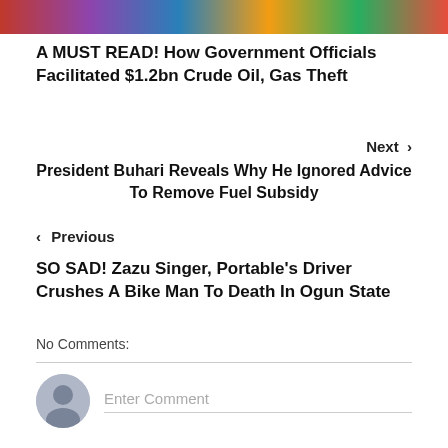[Figure (photo): Colorful group photo banner at the top of the page]
A MUST READ! How Government Officials Facilitated $1.2bn Crude Oil, Gas Theft
Next >
President Buhari Reveals Why He Ignored Advice To Remove Fuel Subsidy
< Previous
SO SAD! Zazu Singer, Portable's Driver Crushes A Bike Man To Death In Ogun State
No Comments:
Enter Comment